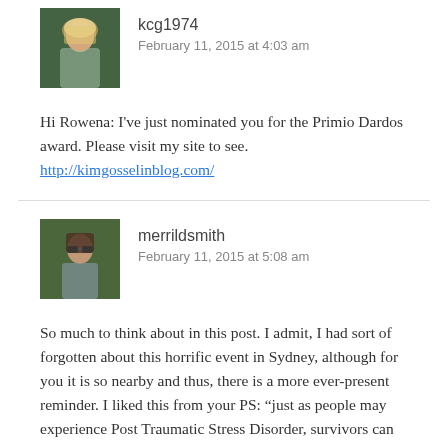[Figure (photo): Avatar photo of kcg1974 — blonde woman outdoors]
kcg1974
February 11, 2015 at 4:03 am
Hi Rowena: I've just nominated you for the Primio Dardos award. Please visit my site to see.
http://kimgosselinblog.com/
[Figure (photo): Avatar photo of merrildsmith — woman with sunglasses]
merrildsmith
February 11, 2015 at 5:08 am
So much to think about in this post. I admit, I had sort of forgotten about this horrific event in Sydney, although for you it is so nearby and thus, there is a more ever-present reminder. I liked this from your PS: “just as people may experience Post Traumatic Stress Disorder, survivors can